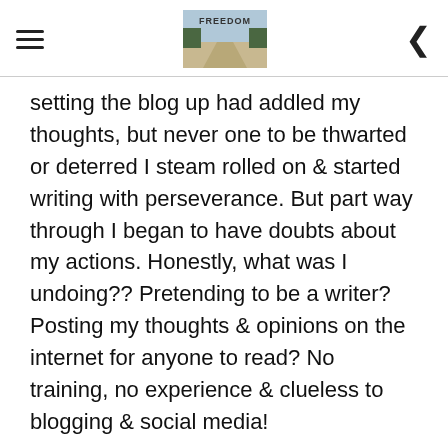FREEDOM [blog logo image]
setting the blog up had addled my thoughts, but never one to be thwarted or deterred I steam rolled on & started writing with perseverance.  But part way through I began to have doubts about my actions.  Honestly, what was I undoing??  Pretending to be a writer?  Posting my thoughts & opinions on the internet for anyone to read?  No training, no experience & clueless to blogging & social media!
I escaped to the nearby field & stomped around whilst questioning and praying.  My heart was burning with my new found passion for hu...